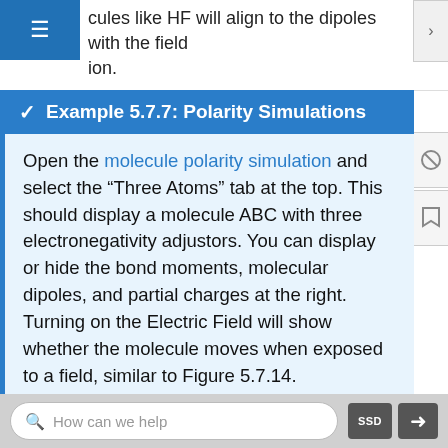cules like HF will align to the dipoles with the field ion.
Example 5.7.7: Polarity Simulations
Open the molecule polarity simulation and select the “Three Atoms” tab at the top. This should display a molecule ABC with three electronegativity adjustors. You can display or hide the bond moments, molecular dipoles, and partial charges at the right. Turning on the Electric Field will show whether the molecule moves when exposed to a field, similar to Figure 5.7.14.
Use the electronegativity controls to determine how the molecular dipole will look for the starting bent molecule if:
How can we help